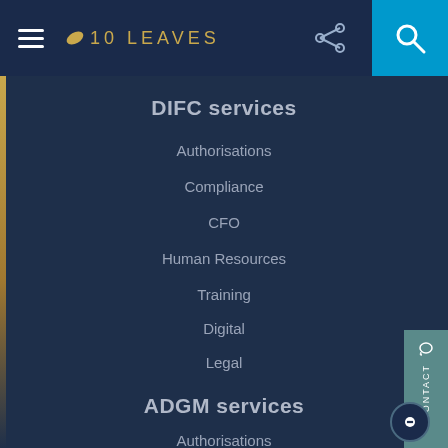10 LEAVES
DIFC services
Authorisations
Compliance
CFO
Human Resources
Training
Digital
Legal
ADGM services
Authorisations